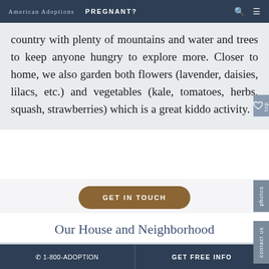American Adoptions   PREGNANT?
country with plenty of mountains and water and trees to keep anyone hungry to explore more. Closer to home, we also garden both flowers (lavender, daisies, lilacs, etc.) and vegetables (kale, tomatoes, herbs, squash, strawberries) which is a great kiddo activity.
GET IN TOUCH
Our House and Neighborhood
☎ 1-800-ADOPTION     GET FREE INFO